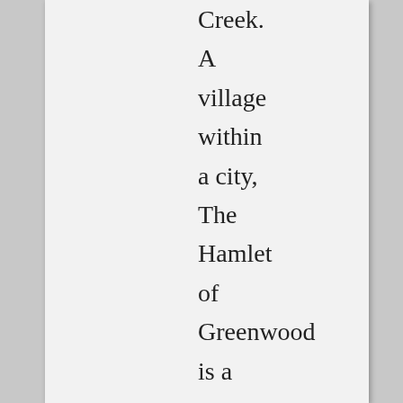Creek. A village within a city, The Hamlet of Greenwood is a sanctuary for residents and visitors alike. Its bucolic countryside